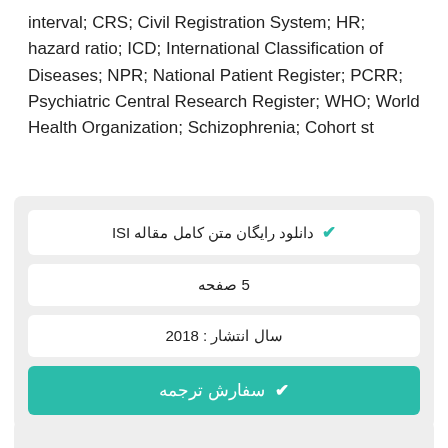interval; CRS; Civil Registration System; HR; hazard ratio; ICD; International Classification of Diseases; NPR; National Patient Register; PCRR; Psychiatric Central Research Register; WHO; World Health Organization; Schizophrenia; Cohort st
✔ دانلود رایگان متن کامل مقاله ISI
5 صفحه
سال انتشار : 2018
✔ سفارش ترجمه